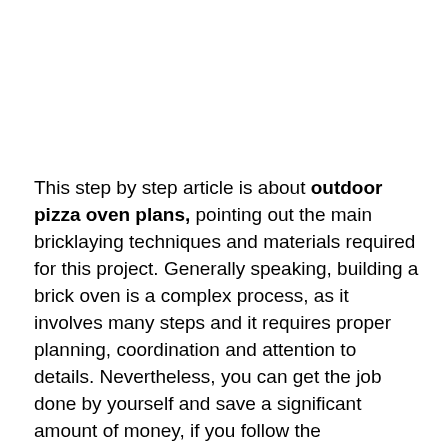This step by step article is about outdoor pizza oven plans, pointing out the main bricklaying techniques and materials required for this project. Generally speaking, building a brick oven is a complex process, as it involves many steps and it requires proper planning, coordination and attention to details. Nevertheless, you can get the job done by yourself and save a significant amount of money, if you follow the instructions and pay attention to our tips. All you have to do is to use quality materials and to practice the bricklaying techniques before starting the actual project.